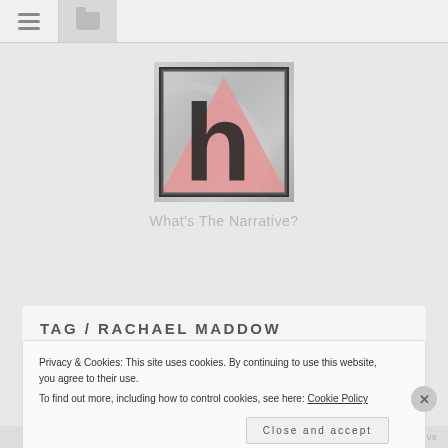[Figure (screenshot): Website navigation bar with hamburger menu icon and folder icon]
[Figure (logo): Logo image: stylized letter 'h' in dark color over a pink triangle on a marble/grey background, square format]
What's The Narrative?
TAG / RACHAEL MADDOW
Privacy & Cookies: This site uses cookies. By continuing to use this website, you agree to their use.
To find out more, including how to control cookies, see here: Cookie Policy
Close and accept